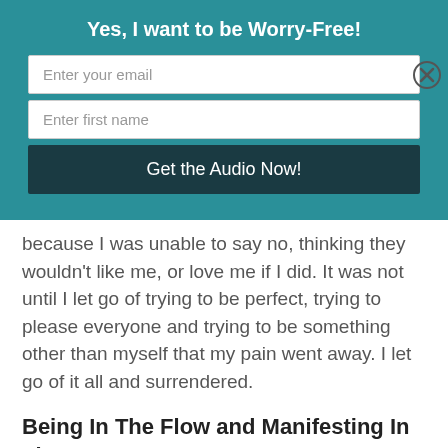Yes, I want to be Worry-Free!
Enter your email
Enter first name
Get the Audio Now!
because I was unable to say no, thinking they wouldn't like me, or love me if I did. It was not until I let go of trying to be perfect, trying to please everyone and trying to be something other than myself that my pain went away. I let go of it all and surrendered.
Being In The Flow and Manifesting In The Moment